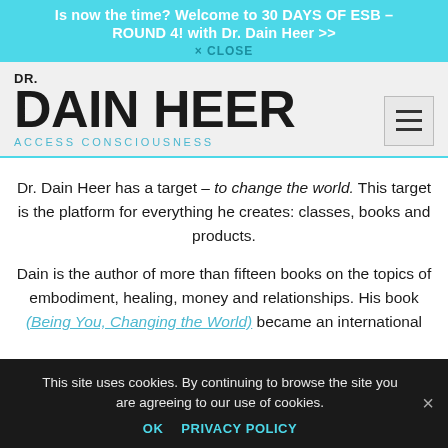Is now the time? Welcome to 30 DAYS OF ESB – ROUND 4! with Dr. Dain Heer >> × CLOSE
[Figure (logo): DR. DAIN HEER ACCESS CONSCIOUSNESS logo with hamburger menu icon]
Dr. Dain Heer has a target – to change the world. This target is the platform for everything he creates: classes, books and products.
Dain is the author of more than fifteen books on the topics of embodiment, healing, money and relationships. His book (Being You, Changing the World) became an international
This site uses cookies. By continuing to browse the site you are agreeing to our use of cookies.
OK   PRIVACY POLICY